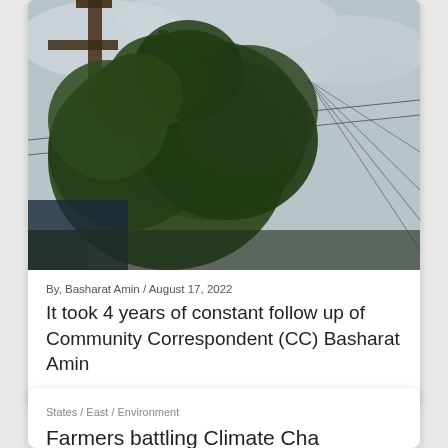[Figure (photo): Upward view of tree branches, wooden utility poles, and power lines against a cloudy grey sky]
By, Basharat Amin / August 17, 2022
It took 4 years of constant follow up of Community Correspondent (CC) Basharat Amin
States / East / Environment
Farmers battling Climate Cha…